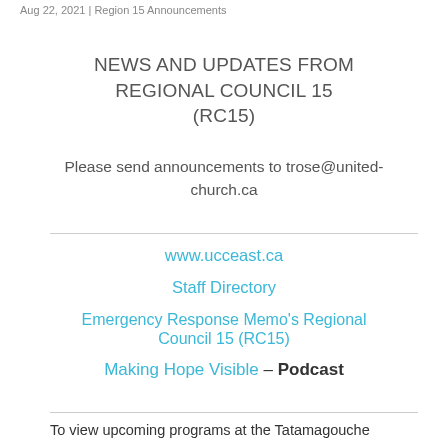Aug 22, 2021 | Region 15 Announcements
NEWS AND UPDATES FROM REGIONAL COUNCIL 15 (RC15)
Please send announcements to trose@united-church.ca
www.ucceast.ca
Staff Directory
Emergency Response Memo's Regional Council 15 (RC15)
Making Hope Visible – Podcast
To view upcoming programs at the Tatamagouche